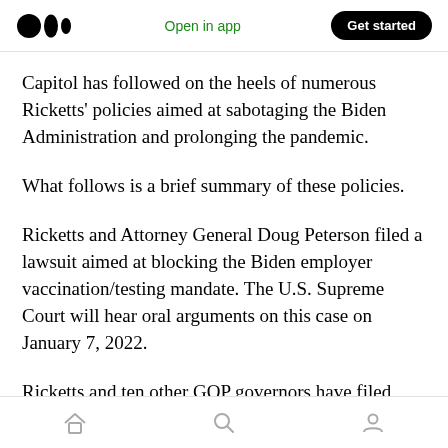Open in app | Get started
Capitol has followed on the heels of numerous Ricketts' policies aimed at sabotaging the Biden Administration and prolonging the pandemic.
What follows is a brief summary of these policies.
Ricketts and Attorney General Doug Peterson filed a lawsuit aimed at blocking the Biden employer vaccination/testing mandate. The U.S. Supreme Court will hear oral arguments on this case on January 7, 2022.
Ricketts and ten other GOP governors have filed
Home | Search | Profile